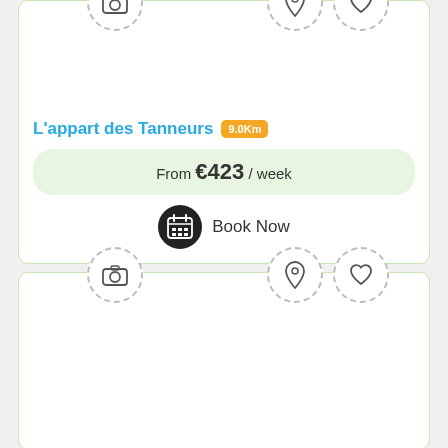[Figure (screenshot): Listing card for L'appart des Tanneurs showing camera, pin, and heart icons at top, a blank image area, the listing title in blue with orange distance badge '9.0Km', a green price bar showing 'From €423 / week', and a Book Now button with calendar icon.]
L'appart des Tanneurs 9.0Km
From €423 / week
Book Now
[Figure (screenshot): Second listing card (partial) showing camera, pin, and heart icons at top, blank image area below.]